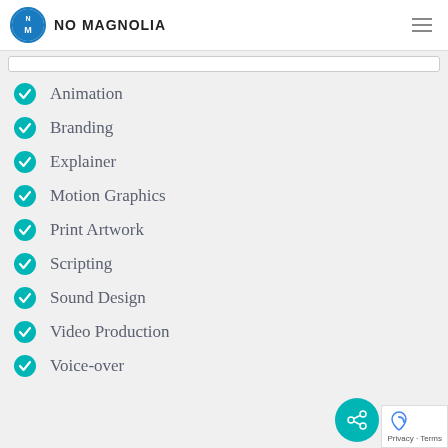NO MAGNOLIA
Animation
Branding
Explainer
Motion Graphics
Print Artwork
Scripting
Sound Design
Video Production
Voice-over